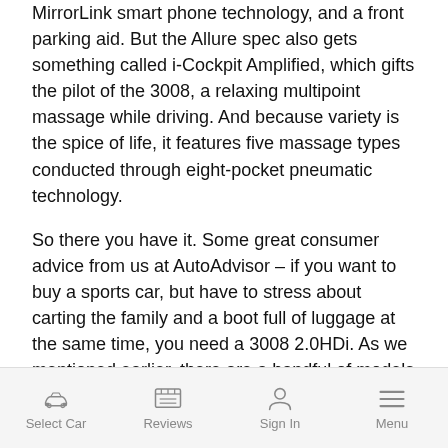MirrorLink smart phone technology, and a front parking aid. But the Allure spec also gets something called i-Cockpit Amplified, which gifts the pilot of the 3008, a relaxing multipoint massage while driving. And because variety is the spice of life, it features five massage types conducted through eight-pocket pneumatic technology.
So there you have it. Some great consumer advice from us at AutoAdvisor – if you want to buy a sports car, but have to stress about carting the family and a boot full of luggage at the same time, you need a 3008 2.0HDi. As we mentioned earlier, there are a handful of models in the 3008 line-up, so there really is one for every budget. The range kicks off with
Select Car  Reviews  Sign In  Menu